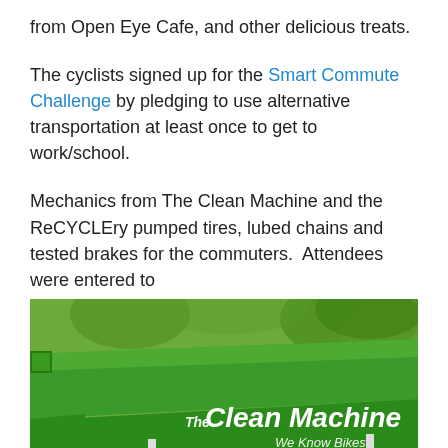from Open Eye Cafe, and other delicious treats.
The cyclists signed up for the Smart Commute Challenge by pledging to use alternative transportation at least once to get to work/school.
Mechanics from The Clean Machine and the ReCYCLEry pumped tires, lubed chains and tested brakes for the commuters.  Attendees were entered to
[Figure (photo): A green tent/canopy with 'The Clean Machine - We Know Bikes' branding, photographed outdoors with trees in the background.]